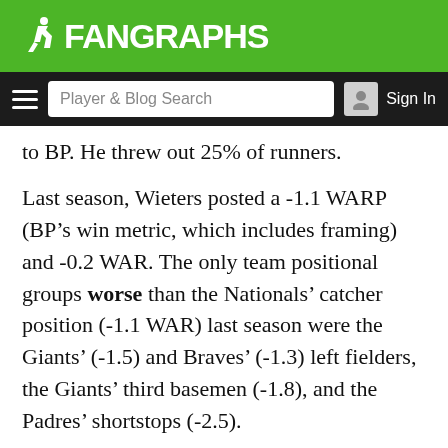FanGraphs
to BP. He threw out 25% of runners.
Last season, Wieters posted a -1.1 WARP (BP’s win metric, which includes framing) and -0.2 WAR. The only team positional groups worse than the Nationals’ catcher position (-1.1 WAR) last season were the Giants’ (-1.5) and Braves’ (-1.3) left fielders, the Giants’ third basemen (-1.8), and the Padres’ shortstops (-2.5).
Now, with or without a superior catching option, the Nationals are a heavy favorite to win the NL East. They feature an an edge